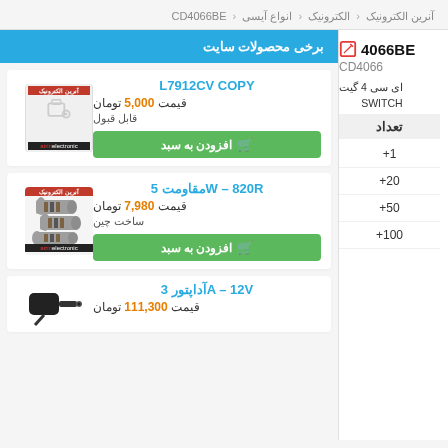آنرین الکترونیک > الکترونیک > انواع آیسی > CD4066BE
4066BE
CD4066
ای سی 4 گیت
SWITCH
تعداد
+1
+20
+50
+100
برخی محصولات سایت
L7912CV COPY
قیمت 5,000 تومان
قابل قبول
افزودن به سبد
[Figure (photo): No image placeholder with آنرین الکترونیک brand logo]
مقاومت 5W – 820R
قیمت 7,980 تومان
ساخت چین
افزودن به سبد
[Figure (photo): Photo of resistors (cylindrical components) with آنرین الکترونیک brand label]
آداپتور 3A – 12V
قیمت 111,300 تومان